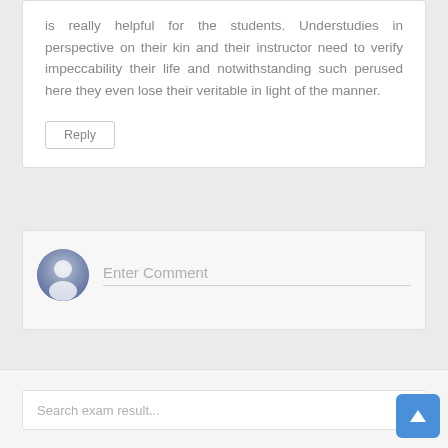is really helpful for the students. Understudies in perspective on their kin and their instructor need to verify impeccability their life and notwithstanding such perused here they even lose their veritable in light of the manner.
Reply
[Figure (illustration): User avatar circle icon — grey silhouette of a person on blue-grey gradient background]
Enter Comment
Search exam result...